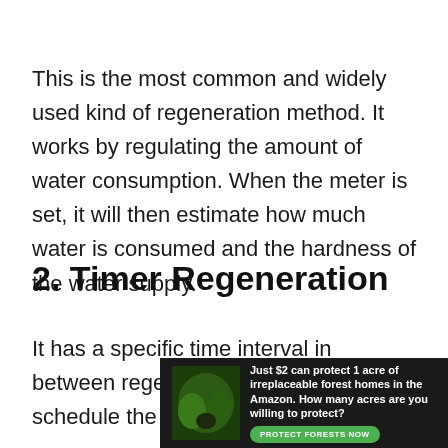This is the most common and widely used kind of regeneration method. It works by regulating the amount of water consumption. When the meter is set, it will then estimate how much water is consumed and the hardness of the water supply.
2. Timer Regeneration
It has a specific time interval in between regeneration processes. You schedule the frequency
[Figure (other): Advertisement banner: Just $2 can protect 1 acre of irreplaceable forest homes in the Amazon. How many acres are you willing to protect? PROTECT FORESTS NOW]